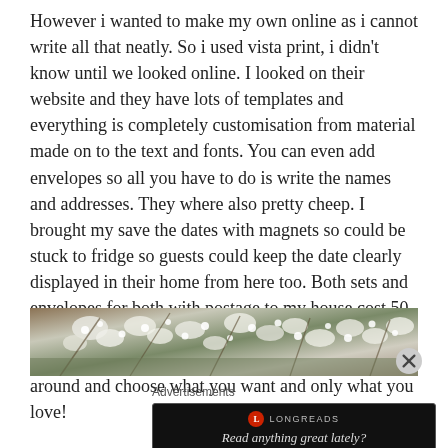However i wanted to make my own online as i cannot write all that neatly. So i used vista print, i didn't know until we looked online. I looked on their website and they have lots of templates and everything is completely customisation from material made on to the text and fonts. You can even add envelopes so all you have to do is write the names and addresses. They where also pretty cheep. I brought my save the dates with magnets so could be stuck to fridge so guests could keep the date clearly displayed in their home from here too. Both sets and envelopes for both with postage to my house cost 50 which was so cheep and my invites where double sided and made with linen. So have a good look around and choose what you want and only what you love!
[Figure (photo): A decorative photo strip showing white flowers (likely baby's breath) against green foliage and brown branches.]
Advertisements
[Figure (screenshot): Advertisement banner for Longreads with dark background. Shows Longreads logo (red circle with L) and the tagline 'Read anything great lately?']